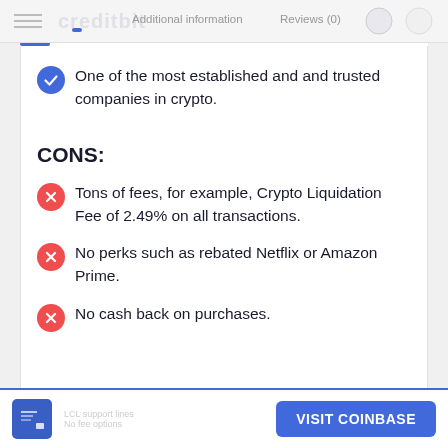Additional information   Reviews (0)
One of the most established and and trusted companies in crypto.
CONS:
Tons of fees, for example, Crypto Liquidation Fee of 2.49% on all transactions.
No perks such as rebated Netflix or Amazon Prime.
No cash back on purchases.
VISIT COINBASE